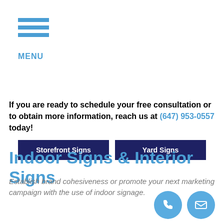[Figure (other): Hamburger menu icon with three horizontal blue bars and MENU label below]
| Storefront Signs | Yard Signs |
| --- | --- |
If you are ready to schedule your free consultation or to obtain more information, reach us at (647) 953-0557 today!
Indoor Signs & Interior Signs
Establish brand cohesiveness or promote your next marketing campaign with the use of indoor signage.
[Figure (other): Phone and email icon circles in blue at bottom right]